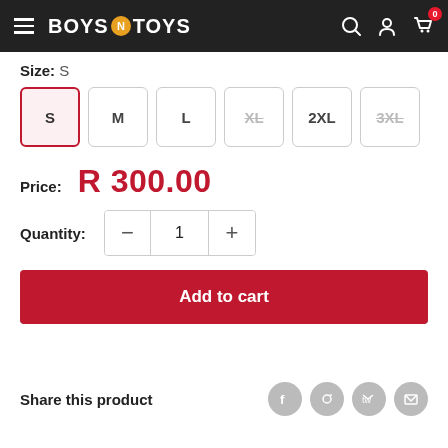Boys N Toys - header with navigation icons
Size: S
S (selected), M, L, XL (unavailable), 2XL, 3XL (unavailable)
Price: R 300.00
Quantity: 1
Add to cart
Share this product